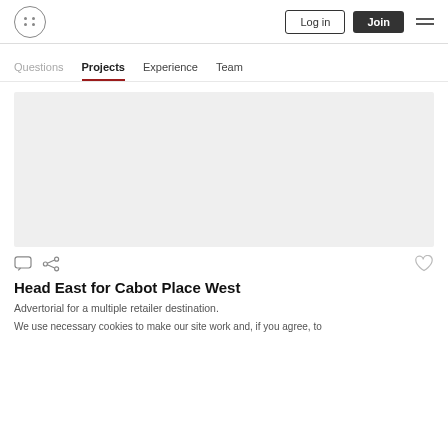Log in | Join
Questions | Projects | Experience | Team
[Figure (photo): Large light grey placeholder image area for a project]
Head East for Cabot Place West
Advertorial for a multiple retailer destination.
We use necessary cookies to make our site work and, if you agree, to